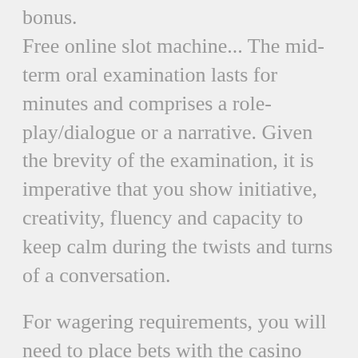bonus. Free online slot machine... The mid-term oral examination lasts for minutes and comprises a role-play/dialogue or a narrative. Given the brevity of the examination, it is imperative that you show initiative, creativity, fluency and capacity to keep calm during the twists and turns of a conversation.
For wagering requirements, you will need to place bets with the casino bonus funds given to you so you can wager some more. Make sure to follow deposit bets and minimum bet rules as well. You may have to spend a lot more money than expected in order to withdraw any winnings gained. Some gamblers who smoke, however, said they would seek out casinos that continued to allow them to do so. — For decades, it was accepted wisdom in the casino industry that eliminating smoking would automatically